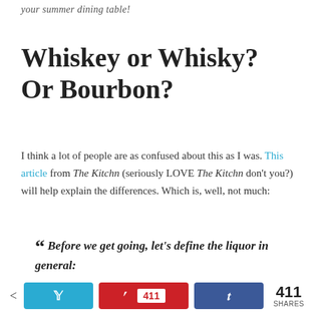your summer dining table!
Whiskey or Whisky? Or Bourbon?
I think a lot of people are as confused about this as I was. This article from The Kitchn (seriously LOVE The Kitchn don't you?) will help explain the differences. Which is, well, not much:
“ Before we get going, let’s define the liquor in general: